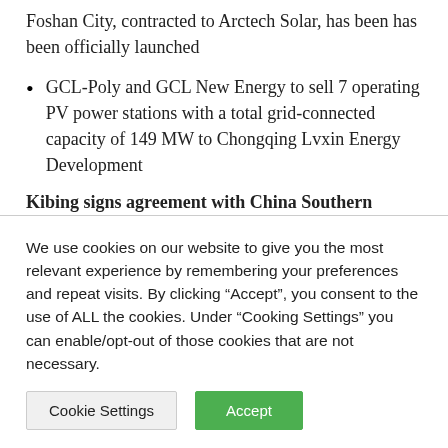Foshan City, contracted to Arctech Solar, has been has been officially launched
GCL-Poly and GCL New Energy to sell 7 operating PV power stations with a total grid-connected capacity of 149 MW to Chongqing Lvxin Energy Development
Kibing signs agreement with China Southern Power Grid: Solar glass manufacturer Kibing Group announced it has signed a strategic agreement with China Southern Power Grid. It focuses on the application of ultra-white float glass in solar modules and rooftop distributed PV power generation projects. As per the
We use cookies on our website to give you the most relevant experience by remembering your preferences and repeat visits. By clicking “Accept”, you consent to the use of ALL the cookies. Under “Cooking Settings” you can enable/opt-out of those cookies that are not necessary.